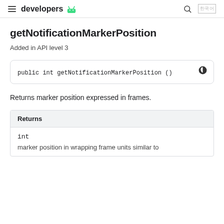developers
getNotificationMarkerPosition
Added in API level 3
public int getNotificationMarkerPosition ()
Returns marker position expressed in frames.
| Returns |
| --- |
| int |
marker position in wrapping frame units similar to